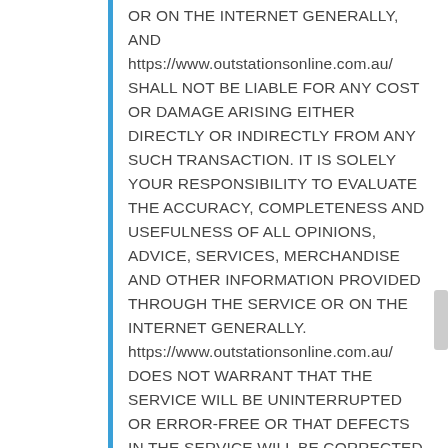OR ON THE INTERNET GENERALLY, AND https://www.outstationsonline.com.au/ SHALL NOT BE LIABLE FOR ANY COST OR DAMAGE ARISING EITHER DIRECTLY OR INDIRECTLY FROM ANY SUCH TRANSACTION. IT IS SOLELY YOUR RESPONSIBILITY TO EVALUATE THE ACCURACY, COMPLETENESS AND USEFULNESS OF ALL OPINIONS, ADVICE, SERVICES, MERCHANDISE AND OTHER INFORMATION PROVIDED THROUGH THE SERVICE OR ON THE INTERNET GENERALLY. https://www.outstationsonline.com.au/ DOES NOT WARRANT THAT THE SERVICE WILL BE UNINTERRUPTED OR ERROR-FREE OR THAT DEFECTS IN THE SERVICE WILL BE CORRECTED. YOU UNDERSTAND FURTHER THAT THE PURE NATURE OF THE INTERNET CONTAINS UNEDITED MATERIALS SOME OF WHICH ARE SEXUALLY EXPLICIT OR MAY BE OFFENSIVE TO YOU. YOUR ACCESS TO SUCH MATERIALS IS AT YOUR RISK.